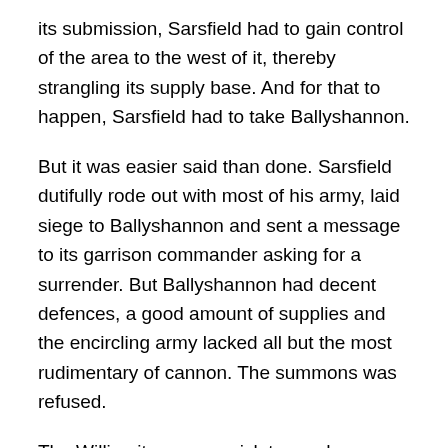its submission, Sarsfield had to gain control of the area to the west of it, thereby strangling its supply base. And for that to happen, Sarsfield had to take Ballyshannon.
But it was easier said than done. Sarsfield dutifully rode out with most of his army, laid siege to Ballyshannon and sent a message to its garrison commander asking for a surrender. But Ballyshannon had decent defences, a good amount of supplies and the encircling army lacked all but the most rudimentary of cannon. The summons was refused.
The Williamites were quick to send reinforcements from Enniskillen, and the result was the “Break of Beeleck” that I have discussed before. The Jacobites took up a decent position, but fled after only a small forward thrust and flanking by the enemy, leaving the operation to take